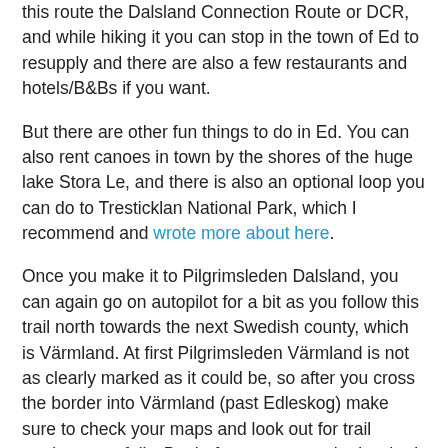this route the Dalsland Connection Route or DCR, and while hiking it you can stop in the town of Ed to resupply and there are also a few restaurants and hotels/B&Bs if you want.
But there are other fun things to do in Ed. You can also rent canoes in town by the shores of the huge lake Stora Le, and there is also an optional loop you can do to Tresticklan National Park, which I recommend and wrote more about here.
Once you make it to Pilgrimsleden Dalsland, you can again go on autopilot for a bit as you follow this trail north towards the next Swedish county, which is Värmland. At first Pilgrimsleden Värmland is not as clearly marked as it could be, so after you cross the border into Värmland (past Edleskog) make sure to check your maps and look out for trail markers carefully. But before you cross the border I recommend that you explore the nature reserve in the Edleskog area (on the east side of the big lake), which is very scenic, has some nice spots for swimming. and also has a few trail shelters (including one cabin with a wood stove). The next two sections go through Värmland, and